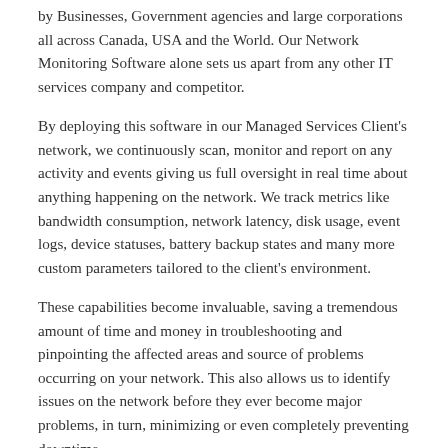by Businesses, Government agencies and large corporations all across Canada, USA and the World. Our Network Monitoring Software alone sets us apart from any other IT services company and competitor.
By deploying this software in our Managed Services Client's network, we continuously scan, monitor and report on any activity and events giving us full oversight in real time about anything happening on the network. We track metrics like bandwidth consumption, network latency, disk usage, event logs, device statuses, battery backup states and many more custom parameters tailored to the client's environment.
These capabilities become invaluable, saving a tremendous amount of time and money in troubleshooting and pinpointing the affected areas and source of problems occurring on your network. This also allows us to identify issues on the network before they ever become major problems, in turn, minimizing or even completely preventing downtime.
With Netmon Monitoring, we also have the capability to break down and analyze all traffic on the client's network and see what devices are in communication with each